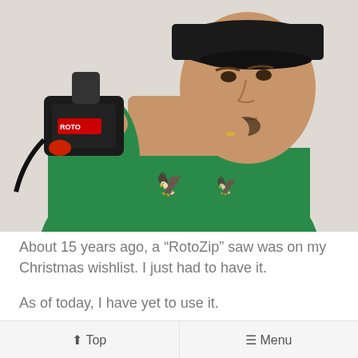[Figure (photo): A man wearing a black backwards cap and green t-shirt holding a RotoZip saw tool in his left hand while resting his right hand thoughtfully under his chin, appearing to contemplate the tool.]
About 15 years ago, a “RotoZip” saw was on my Christmas wishlist. I just had to have it.
As of today, I have yet to use it.
The tool, itself, is fantastic. I can think of many practical uses. Ironically, the RotoZip would have
⬆ Top   ≡ Menu